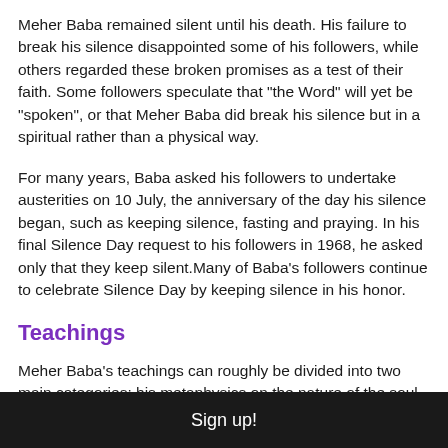Meher Baba remained silent until his death. His failure to break his silence disappointed some of his followers, while others regarded these broken promises as a test of their faith. Some followers speculate that "the Word" will yet be "spoken", or that Meher Baba did break his silence but in a spiritual rather than a physical way.
For many years, Baba asked his followers to undertake austerities on 10 July, the anniversary of the day his silence began, such as keeping silence, fasting and praying. In his final Silence Day request to his followers in 1968, he asked only that they keep silent.Many of Baba's followers continue to celebrate Silence Day by keeping silence in his honor.
Teachings
Meher Baba's teachings can roughly be divided into two main categories: his metaphysics on the nature of the soul and the Universe, and practical advice for the spiritual aspirant. The two are interrelated. His metaphysics is mostly found in his principal book on
Sign up!